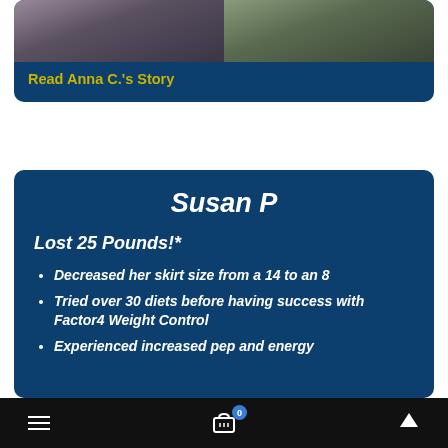[Figure (photo): Two photos side by side showing before and after or two people, part of Anna C.'s story card with dark blue background]
Read Anna C.'s Story
Susan P
Lost 25 Pounds!*
Decreased her skirt size from a 14 to an 8
Tried over 30 diets before having success with Factor4 Weight Control
Experienced increased pep and energy
≡   🛒 0   ∧